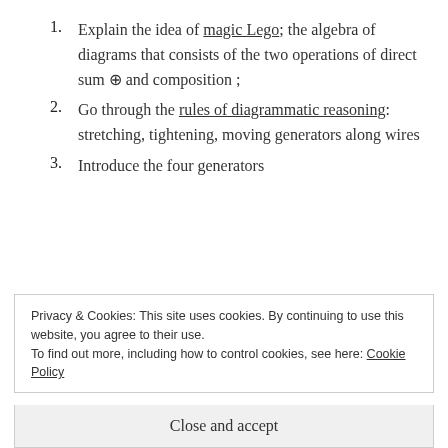Explain the idea of magic Lego; the algebra of diagrams that consists of the two operations of direct sum ⊕ and composition ;
Go through the rules of diagrammatic reasoning: stretching, tightening, moving generators along wires
Introduce the four generators
Privacy & Cookies: This site uses cookies. By continuing to use this website, you agree to their use.
To find out more, including how to control cookies, see here: Cookie Policy
Close and accept